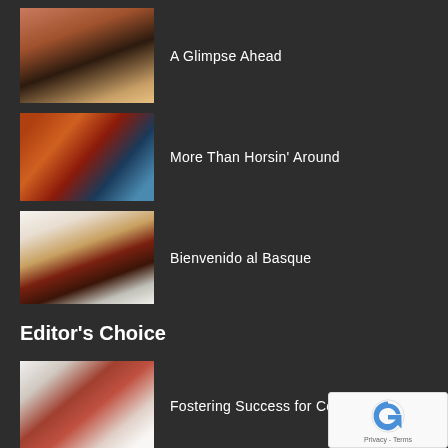[Figure (photo): Silhouettes of horses against a purple/pink sunset sky]
A Glimpse Ahead
[Figure (photo): A rider on a brown horse jumping over a hurdle at an equestrian event]
More Than Horsin' Around
[Figure (photo): A plate of food with meat, pastries and dark berries/grapes on a white plate with a fork]
Bienvenido al Basque
Editor's Choice
[Figure (photo): A football player in red uniform on white background]
Fostering Success for Collegiate At…